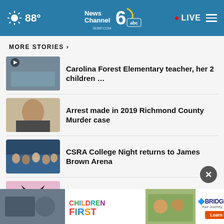88° News Channel 6 abc WJBF.COM · LIVE
MORE STORIES ›
Carolina Forest Elementary teacher, her 2 children …
Arrest made in 2019 Richmond County Murder case
CSRA College Night returns to James Brown Arena
Florida deputy accused of stomping, killing cat
[Figure (screenshot): Advertisement banner: Children First and Bridgestone Learn More]